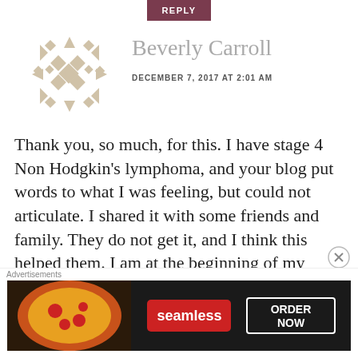REPLY
[Figure (illustration): Decorative avatar/logo made of tan/beige geometric arrow and diamond shapes arranged in a circular pattern]
Beverly Carroll
DECEMBER 7, 2017 AT 2:01 AM
Thank you, so much, for this. I have stage 4 Non Hodgkin's lymphoma, and your blog put words to what I was feeling, but could not articulate. I shared it with some friends and family. They do not get it, and I think this helped them. I am at the beginning of my treatment journey–2 cycle
[Figure (screenshot): Seamless food delivery advertisement banner showing pizza image on left, Seamless red logo in center, and ORDER NOW button on right, on dark background]
Advertisements